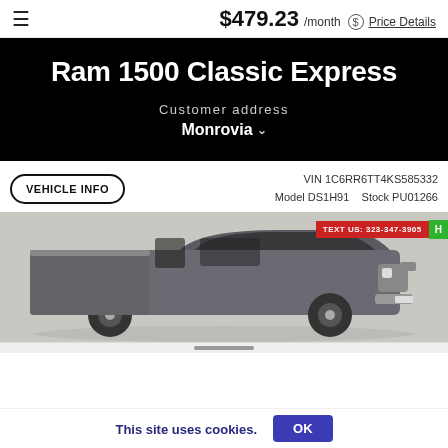$479.23 /month  Price Details
Ram 1500 Classic Express
Customer address
Monrovia
VEHICLE INFO
VIN 1C6RR6TT4KS585332
Model DS1H91   Stock PU01266
[Figure (photo): Ram 1500 Classic Express pickup truck front three-quarter view, with TEXT US: 323-347-3905 red banner in the top right corner]
This site uses cookies.